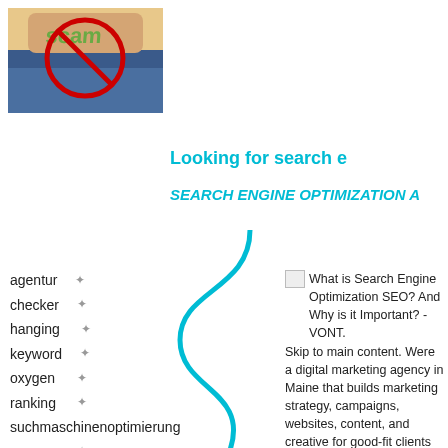[Figure (photo): Photo of a person's midsection with a red prohibition circle over the word 'scam']
Looking for search e
SEARCH ENGINE OPTIMIZATION A
agentur
checker
hanging
keyword
oxygen
ranking
suchmaschinenoptimierung
vpn
What is Search Engine Optimization SEO? And Why is it Important? - VONT. Skip to main content. Were a digital marketing agency in Maine that builds marketing strategy, campaigns, websites, content, and creative for good-fit clients near and far. Were 100 employee-owned and fully integrated with Ethos, a full-service, multi-platform branding agency. A full-service